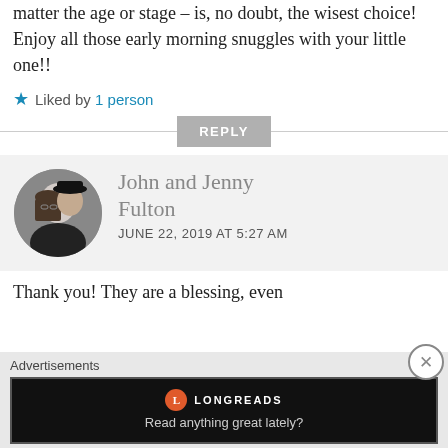matter the age or stage – is, no doubt, the wisest choice! Enjoy all those early morning snuggles with your little one!!
★ Liked by 1 person
REPLY
[Figure (photo): Profile photo of John and Jenny Fulton — a couple, woman with glasses and long brown hair, man in black hat and shirt]
John and Jenny Fulton
JUNE 22, 2019 AT 5:27 AM
Thank you! They are a blessing, even
Advertisements
[Figure (screenshot): Longreads advertisement banner — black background, Longreads logo with orange circle, text: Read anything great lately?]